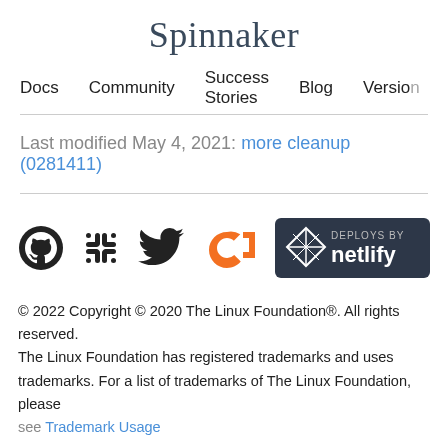Spinnaker
Docs  Community  Success Stories  Blog  Version
Last modified May 4, 2021: more cleanup (0281411)
[Figure (logo): GitHub icon, Slack icon, Twitter icon on the left; CD Foundation logo and Deploys by Netlify badge on the right]
© 2022 Copyright © 2020 The Linux Foundation®. All rights reserved. The Linux Foundation has registered trademarks and uses trademarks. For a list of trademarks of The Linux Foundation, please